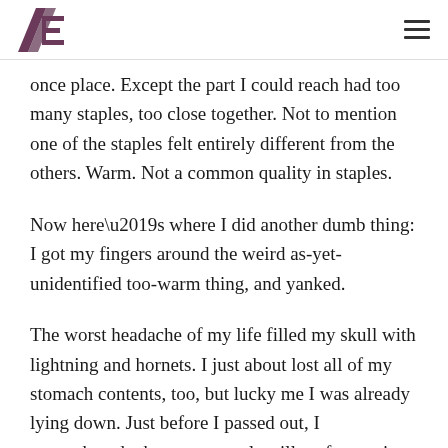AE [logo] [hamburger menu]
once place. Except the part I could reach had too many staples, too close together. Not to mention one of the staples felt entirely different from the others. Warm. Not a common quality in staples.
Now here’s where I did another dumb thing: I got my fingers around the weird as-yet-unidentified too-warm thing, and yanked.
The worst headache of my life filled my skull with lightning and hornets. I just about lost all of my stomach contents, too, but lucky me I was already lying down. Just before I passed out, I remembered why some people still prefer a voice interface over a neural connection: Unexpected timeouts are a hell of a thing.